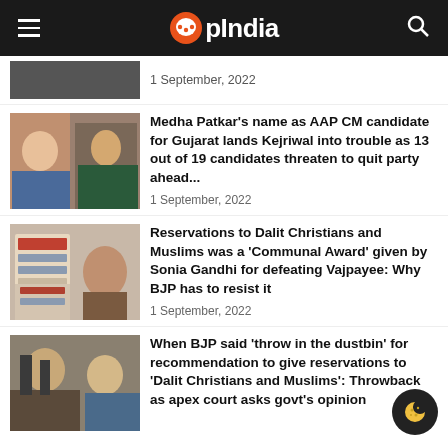OpIndia
1 September, 2022
Medha Patkar's name as AAP CM candidate for Gujarat lands Kejriwal into trouble as 13 out of 19 candidates threaten to quit party ahead...
1 September, 2022
Reservations to Dalit Christians and Muslims was a 'Communal Award' given by Sonia Gandhi for defeating Vajpayee: Why BJP has to resist it
1 September, 2022
When BJP said 'throw in the dustbin' for recommendation to give reservations to 'Dalit Christians and Muslims': Throwback as apex court asks govt's opinion